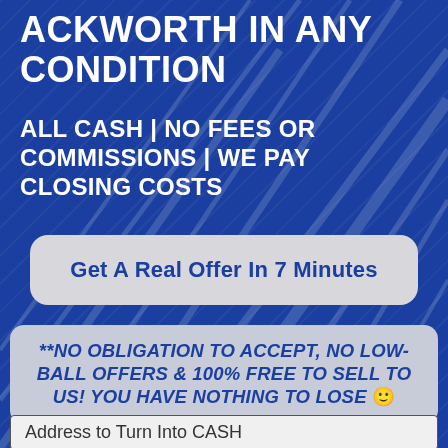ACKWORTH IN ANY CONDITION
ALL CASH | NO FEES OR COMMISSIONS | WE PAY CLOSING COSTS
Get A Real Offer In 7 Minutes
**NO OBLIGATION TO ACCEPT, NO LOW-BALL OFFERS & 100% FREE TO SELL TO US! YOU HAVE NOTHING TO LOSE 🙂
Address to Turn Into CASH